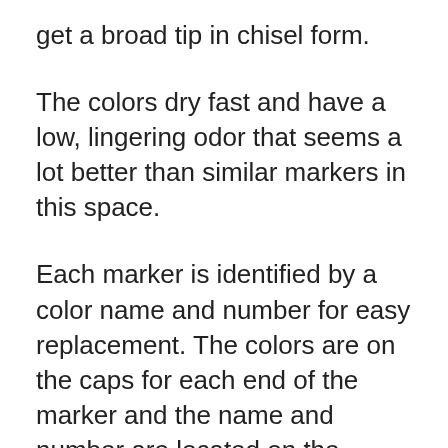get a broad tip in chisel form.
The colors dry fast and have a low, lingering odor that seems a lot better than similar markers in this space.
Each marker is identified by a color name and number for easy replacement. The colors are on the caps for each end of the marker and the name and number are located on the marker tubes. I wish this text was a bit larger but it's definitely readable.
Now I did notice the caps are a bit tougher to get on. Not saying you'll struggle or break a nail but you do really have to push. And if they're not fully on then the cap can fall off, leading to some very dry markers.
Just make sure the caps are tight when you're done